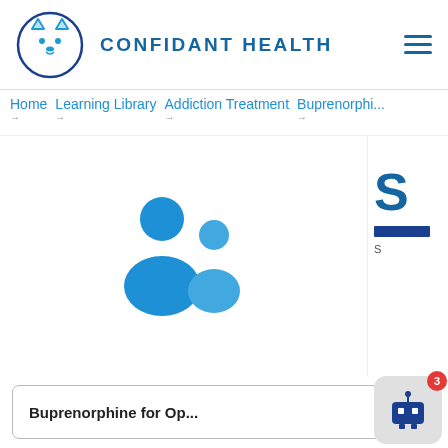[Figure (logo): Confidant Health logo: blue circle with a cartoon dog face (cat-like ears, dot eyes, small nose)]
CONFIDANT HEALTH
Home  Learning Library  Addiction Treatment  Buprenorphi...
[Figure (illustration): Two blue human silhouette icons representing people/users]
[Figure (screenshot): Right panel showing partial large blue text and a dark blue bar]
Buprenorphine for Op...
[Figure (illustration): Chatbot widget icon: small robot face with dot eyes and antenna, with red badge showing number 3]